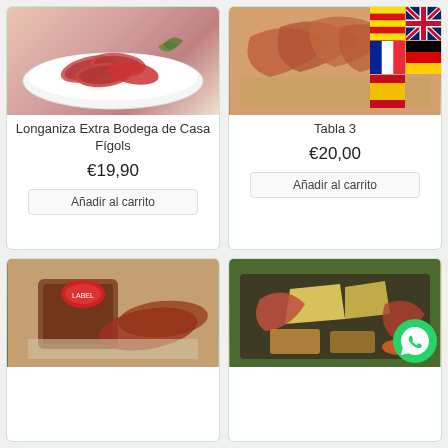[Figure (photo): Sliced salami on a white plate]
Longaniza Extra Bodega de Casa Fígols
€19,90
Añadir al carrito
[Figure (photo): Cured ham slices on a board with language flag icons overlay]
Tabla 3
€20,00
Añadir al carrito
[Figure (photo): Cured coppa/ham product with red label]
[Figure (photo): Charcuterie and cheese board with assorted meats]